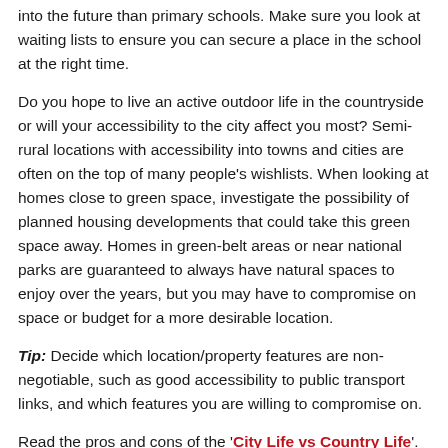into the future than primary schools. Make sure you look at waiting lists to ensure you can secure a place in the school at the right time.
Do you hope to live an active outdoor life in the countryside or will your accessibility to the city affect you most? Semi-rural locations with accessibility into towns and cities are often on the top of many people's wishlists. When looking at homes close to green space, investigate the possibility of planned housing developments that could take this green space away. Homes in green-belt areas or near national parks are guaranteed to always have natural spaces to enjoy over the years, but you may have to compromise on space or budget for a more desirable location.
Tip: Decide which location/property features are non-negotiable, such as good accessibility to public transport links, and which features you are willing to compromise on.
Read the pros and cons of the 'City Life vs Country Life'.
Learn more about how 'Lifestyle and Space Continue to Drive Buyer Decisions'.